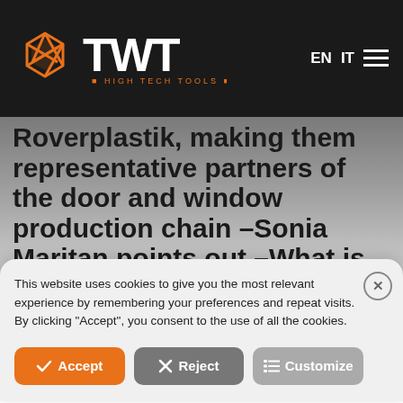TWT High Tech Tools — EN IT navigation
Roverplastik, making them representative partners of the door and window production chain –Sonia Maritan points out –What is this cooperation based on?
This website uses cookies to give you the most relevant experience by remembering your preferences and repeat visits. By clicking "Accept", you consent to the use of all the cookies.